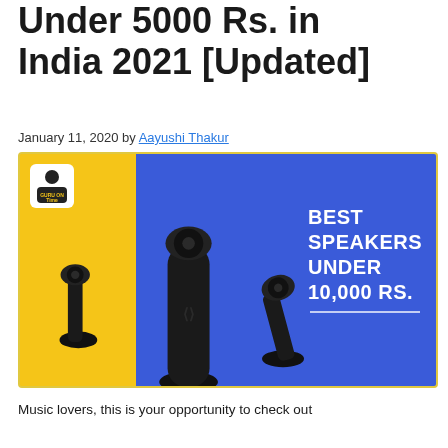Under 5000 Rs. in India 2021 [Updated]
January 11, 2020 by Aayushi Thakur
[Figure (photo): Promotional image showing black computer speakers (Razer 2.1 speaker system) on a yellow and blue background with text 'BEST SPEAKERS UNDER 10,000 RS.']
Music lovers, this is your opportunity to check out